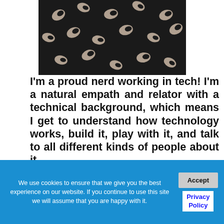[Figure (photo): Partial photo of a person wearing a dark fabric with light-colored bean/cashew shaped pattern, against a blue background. Only the lower torso/clothing area is visible.]
I'm a proud nerd working in tech! I'm a natural empath and relator with a technical background, which means I get to understand how technology works, build it, play with it, and talk to all different kinds of people about it.
We use cookies to ensure that we give you the best experience on our website. If you continue to use this site we will assume that you are happy with it.
Accept
Privacy Policy